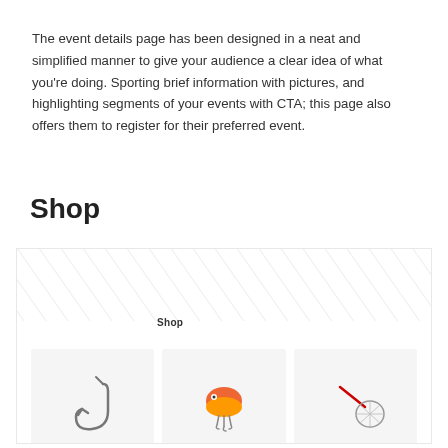The event details page has been designed in a neat and simplified manner to give your audience a clear idea of what you're doing. Sporting brief information with pictures, and highlighting segments of your events with CTA; this page also offers them to register for their preferred event.
Shop
[Figure (screenshot): Screenshot of a shop page showing a 'Shop' label with diagonal line background and three product cards: three fishing items (hook, lure, net) with labels 'Delta Fishing Lures' and prices below each card.]